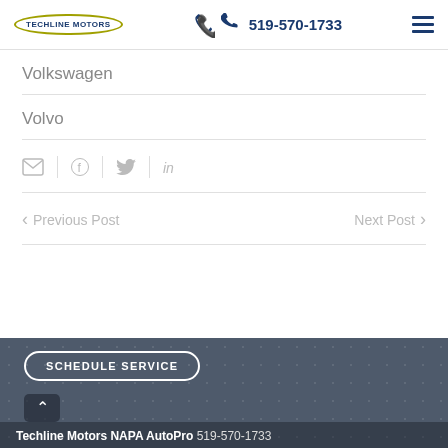Techline Motors | 519-570-1733
Volkswagen
Volvo
[Figure (other): Social sharing icons: email, Facebook, Twitter, LinkedIn]
Previous Post   Next Post
[Figure (other): Dark footer section with dotted background, SCHEDULE SERVICE button, scroll-to-top arrow, and Techline Motors NAPA AutoPro 519-570-1733 text]